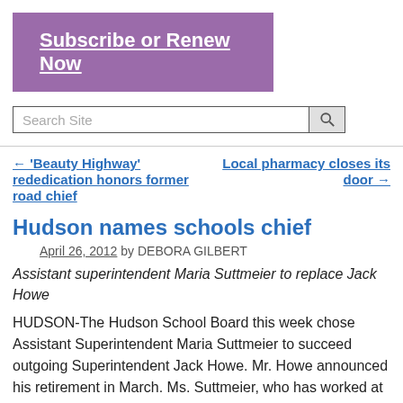[Figure (other): Purple subscribe/renew banner with white bold underlined text 'Subscribe or Renew Now']
Search Site
← 'Beauty Highway' rededication honors former road chief
Local pharmacy closes its door →
Hudson names schools chief
April 26, 2012 by DEBORA GILBERT
Assistant superintendent Maria Suttmeier to replace Jack Howe
HUDSON-The Hudson School Board this week chose Assistant Superintendent Maria Suttmeier to succeed outgoing Superintendent Jack Howe. Mr. Howe announced his retirement in March. Ms. Suttmeier, who has worked at the Hudson City School District for 14 years, will take up her new duties July 1.